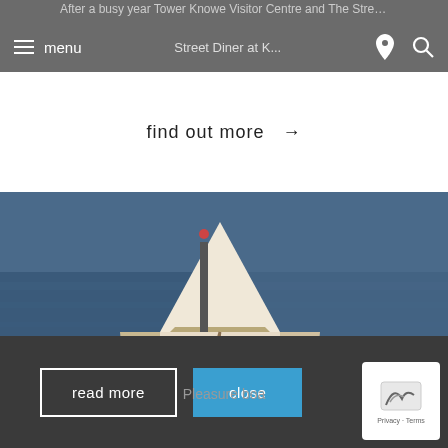After a busy year Tower Knowe Visitor Centre and The Street Diner at K...
find out more →
[Figure (photo): A white boat moored at a reservoir or lake, viewed from the front, with dark blue water visible in the background.]
Entering a reservoir for any unauthorised reason is not allowed. Please stay out at all times.
read more
close
Pleasure boa